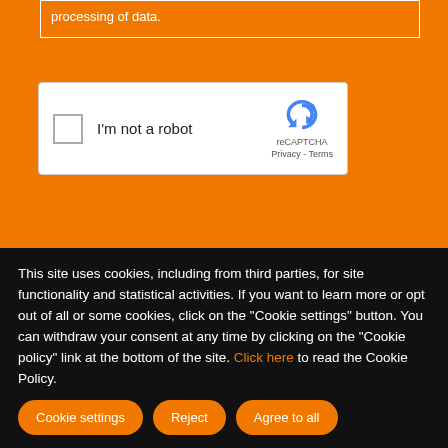processing of data.
[Figure (screenshot): reCAPTCHA widget with checkbox labeled 'I'm not a robot' and Google reCAPTCHA logo with Privacy and Terms links]
Subscribe
This site uses cookies, including from third parties, for site functionality and statistical activities. If you want to learn more or opt out of all or some cookies, click on the "Cookie settings" button. You can withdraw your consent at any time by clicking on the "Cookie policy" link at the bottom of the site. Click here to read the Cookie Policy.
Cookie settings
Reject
Agree to all